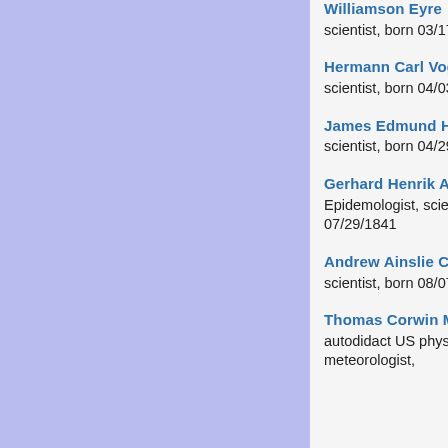Williamson Eyre scientist, born 03/17/1841
Hermann Carl Vogel scientist, born 04/03/1841
James Edmund Harting scientist, born 04/29/1841
Gerhard Henrik Armauer Hansen Epidemologist, scientist, born 07/29/1841
Andrew Ainslie Common scientist, born 08/07/1841
Thomas Corwin Mendenhall autodidact US physicist and meteorologist, born...